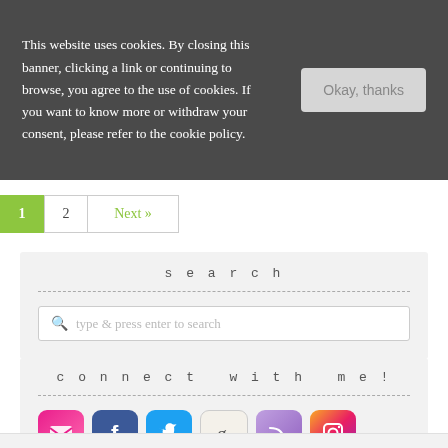This website uses cookies. By closing this banner, clicking a link or continuing to browse, you agree to the use of cookies. If you want to know more or withdraw your consent, please refer to the cookie policy.
1  2  Next »
search
type & press enter to search
connect with me!
[Figure (other): Row of social media icons: email, Facebook, Twitter, Goodreads, RSS, Instagram]